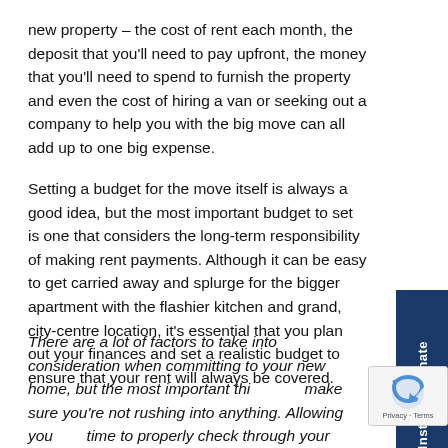new property – the cost of rent each month, the deposit that you'll need to pay upfront, the money that you'll need to spend to furnish the property and even the cost of hiring a van or seeking out a company to help you with the big move can all add up to one big expense.
Setting a budget for the move itself is always a good idea, but the most important budget to set is one that considers the long-term responsibility of making rent payments. Although it can be easy to get carried away and splurge for the bigger apartment with the flashier kitchen and grand, city-centre location, it's essential that you plan out your finances and set a realistic budget to ensure that your rent will always be covered.
There are a lot of factors to take into consideration when committing to your new home, but the most important thing is to make sure you're not rushing into anything. Allowing yourself time to properly check through your tenancy agreement will ensure that there is little confusion in the process and minimal